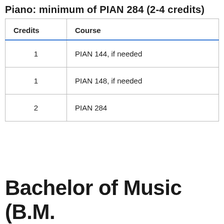Piano: minimum of PIAN 284 (2-4 credits)
| Credits | Course |
| --- | --- |
| 1 | PIAN 144, if needed |
| 1 | PIAN 148, if needed |
| 2 | PIAN 284 |
Bachelor of Music (B.M.)